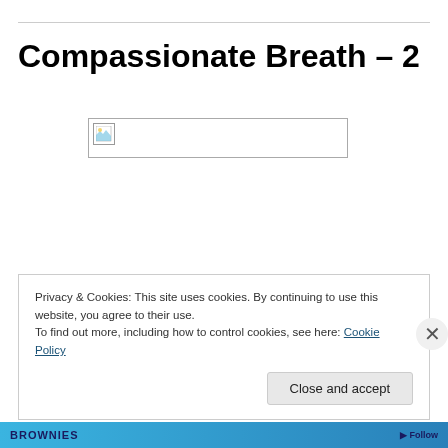Compassionate Breath – 2
[Figure (other): Broken image placeholder with border, showing a small broken image icon in the top-left corner]
Privacy & Cookies: This site uses cookies. By continuing to use this website, you agree to their use.
To find out more, including how to control cookies, see here: Cookie Policy
Close and accept